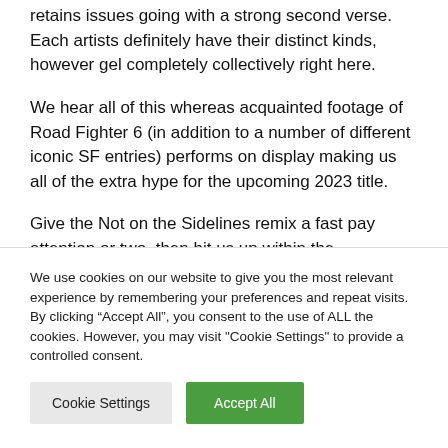retains issues going with a strong second verse. Each artists definitely have their distinct kinds, however gel completely collectively right here.
We hear all of this whereas acquainted footage of Road Fighter 6 (in addition to a number of different iconic SF entries) performs on display making us all of the extra hype for the upcoming 2023 title.
Give the Not on the Sidelines remix a fast pay attention or two, then hit us up within the
We use cookies on our website to give you the most relevant experience by remembering your preferences and repeat visits. By clicking “Accept All”, you consent to the use of ALL the cookies. However, you may visit "Cookie Settings" to provide a controlled consent.